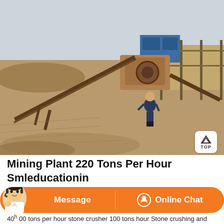[Figure (photo): Outdoor mining/quarry site with a stone crusher machine, conveyor belt diagonal from left, a worker in blue coveralls standing in the foreground, metal scaffolding and stockpiles in background, overcast sky.]
Mining Plant 220 Tons Per Hour Smleducationin
Stone Quarry Crusher Machine 200 Ton Per Hour Mining. Small gold mining 500 tons per hour mining 200 tons per hour crusher her
40 100 tons per hour stone crusher 100 tons hour Stone crushing and